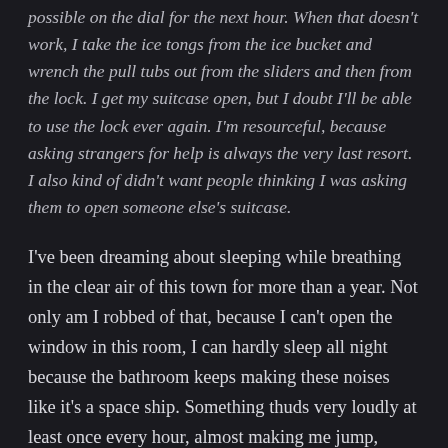possible on the dial for the next hour. When that doesn't work, I take the ice tongs from the ice bucket and wrench the pull tubs out from the sliders and then from the lock. I get my suitcase open, but I doubt I'll be able to use the lock ever again. I'm resourceful, because asking strangers for help is always the very last resort. I also kind of didn't want people thinking I was asking them to open someone else's suitcase.
I've been dreaming about sleeping while breathing in the clear air of this town for more than a year. Not only am I robbed of that, because I can't open the window in this room, I can hardly sleep all night because the bathroom keeps making these noises like it's a space ship. Something thuds very loudly at least once every hour, almost making me jump, something seethes,